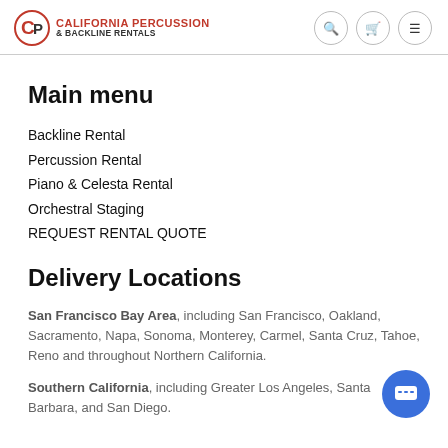CP California Percussion & Backline Rentals
Main menu
Backline Rental
Percussion Rental
Piano & Celesta Rental
Orchestral Staging
REQUEST RENTAL QUOTE
Delivery Locations
San Francisco Bay Area, including San Francisco, Oakland, Sacramento, Napa, Sonoma, Monterey, Carmel, Santa Cruz, Tahoe, Reno and throughout Northern California.
Southern California, including Greater Los Angeles, Santa Barbara, and San Diego.